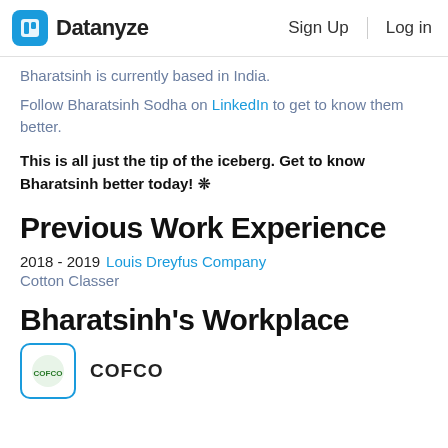Datanyze   Sign Up   Log in
Bharatsinh is currently based in India.
Follow Bharatsinh Sodha on LinkedIn to get to know them better.
This is all just the tip of the iceberg. Get to know Bharatsinh better today! ❊
Previous Work Experience
2018 - 2019  Louis Dreyfus Company
Cotton Classer
Bharatsinh's Workplace
COFCO